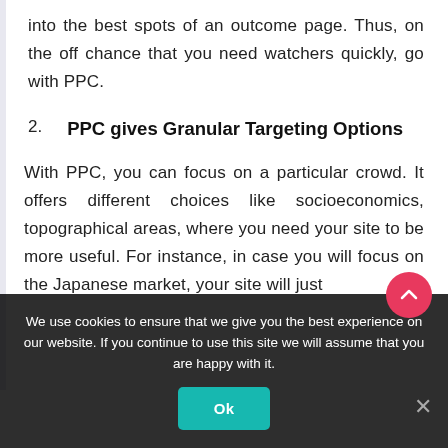into the best spots of an outcome page. Thus, on the off chance that you need watchers quickly, go with PPC.
2. PPC gives Granular Targeting Options
With PPC, you can focus on a particular crowd. It offers different choices like socioeconomics, topographical areas, where you need your site to be more useful. For instance, in case you will focus on the Japanese market, your site will just
We use cookies to ensure that we give you the best experience on our website. If you continue to use this site we will assume that you are happy with it.